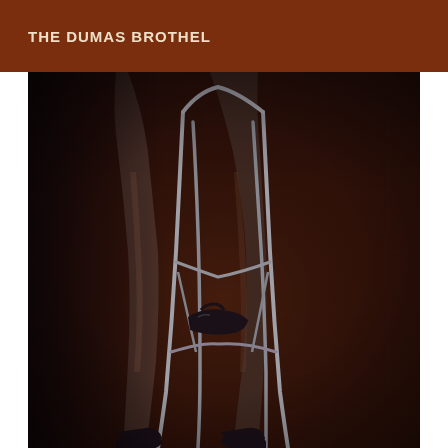THE DUMAS BROTHEL
[Figure (photo): Close-up photograph of a woman's legs in dark stockings and black high-heeled shoes, standing near a metal bar stool on a dark tiled floor. The image is dimly lit with dark reddish-brown tones.]